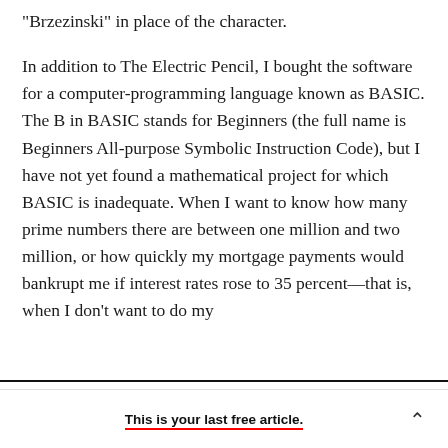"Brzezinski" in place of the character.
In addition to The Electric Pencil, I bought the software for a computer-programming language known as BASIC. The B in BASIC stands for Beginners (the full name is Beginners All-purpose Symbolic Instruction Code), but I have not yet found a mathematical project for which BASIC is inadequate. When I want to know how many prime numbers there are between one million and two million, or how quickly my mortgage payments would bankrupt me if interest rates rose to 35 percent—that is, when I don't want to do my
This is your last free article.